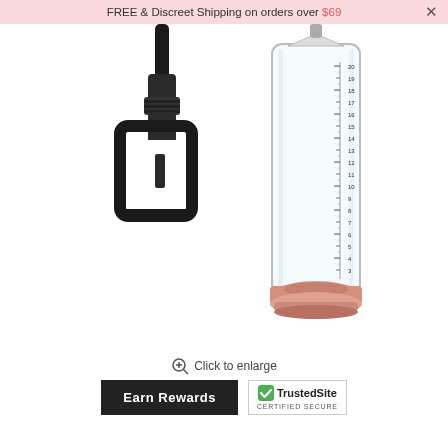FREE & Discreet Shipping on orders over $69  ×
[Figure (photo): Product photo showing two components of a pump device: a black hand pump mechanism with trigger grip on the left, and a clear cylindrical tube with measurement markings (3 to 20) and a pink/rose-colored base on the right, photographed against a white background.]
Click to enlarge
Earn Rewards
[Figure (logo): TrustedSite logo with green checkmark and text 'TrustedSite CERTIFIED SECURE']